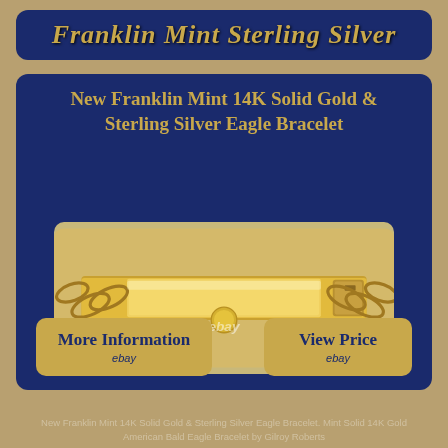Franklin Mint Sterling Silver
New Franklin Mint 14K Solid Gold & Sterling Silver Eagle Bracelet
[Figure (photo): Photo of a gold bracelet with flat center plate and chain link edges, eBay watermark visible]
More Information
ebay
View Price
ebay
New Franklin Mint 14K Solid Gold & Sterling Silver Eagle Bracelet. Mint Solid 14K Gold American Bald Eagle Bracelet by Gilroy Roberts